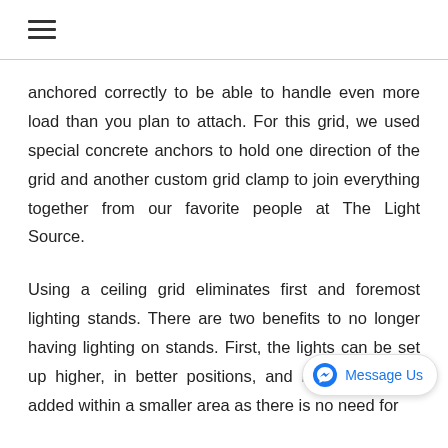☰ (hamburger menu icon)
anchored correctly to be able to handle even more load than you plan to attach. For this grid, we used special concrete anchors to hold one direction of the grid and another custom grid clamp to join everything together from our favorite people at The Light Source.
Using a ceiling grid eliminates first and foremost lighting stands. There are two benefits to no longer having lighting on stands. First, the lights can be set up higher, in better positions, and m[obscured by Message Us button]e added within a smaller area as there is no need for